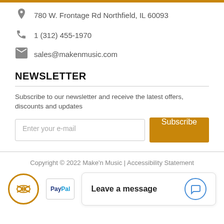780 W. Frontage Rd Northfield, IL 60093
1 (312) 455-1970
sales@makenmusic.com
NEWSLETTER
Subscribe to our newsletter and receive the latest offers, discounts and updates
Enter your e-mail
Subscribe
Copyright © 2022 Make'n Music | Accessibility Statement
Leave a message